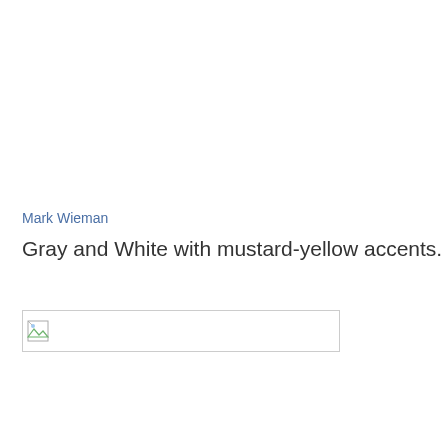Mark Wieman
Gray and White with mustard-yellow accents.
[Figure (other): Broken/missing image placeholder — a small image icon with a border box]